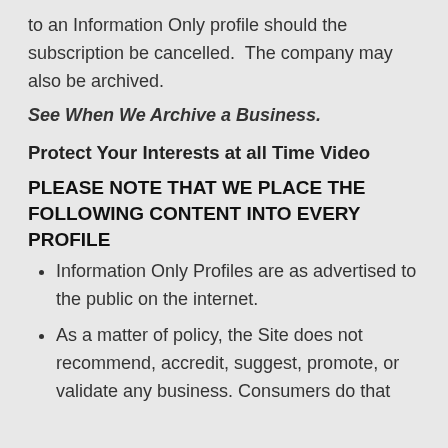to an Information Only profile should the subscription be cancelled.  The company may also be archived.
See When We Archive a Business.
Protect Your Interests at all Time Video
PLEASE NOTE THAT WE PLACE THE FOLLOWING CONTENT INTO EVERY PROFILE
Information Only Profiles are as advertised to the public on the internet.
As a matter of policy, the Site does not recommend, accredit, suggest, promote, or validate any business. Consumers do that